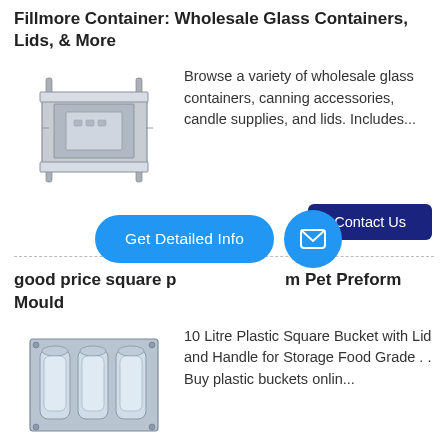Fillmore Container: Wholesale Glass Containers, Lids, & More
[Figure (photo): Photo of a square metal injection mold/container mold with guide pins]
Browse a variety of wholesale glass containers, canning accessories, candle supplies, and lids. Includes...
Contact Us
good price square pet preform mould from Pet Preform Mould
[Figure (photo): Photo of a plastic PET preform mold showing multiple bottle preform cavities]
10 Litre Plastic Square Bucket with Lid and Handle for Storage Food Grade . . Buy plastic buckets onlin...
Contact Us
[Figure (infographic): Blue overlay buttons: 'Get Detailed Info' pill button and mail icon circle button]